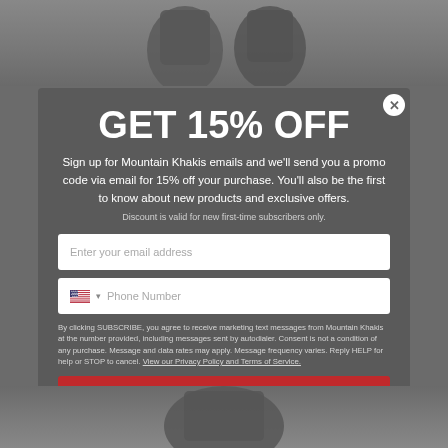[Figure (screenshot): Background product image at top of page showing dark clothing items on gray background]
GET 15% OFF
Sign up for Mountain Khakis emails and we'll send you a promo code via email for 15% off your purchase. You'll also be the first to know about new products and exclusive offers.
Discount is valid for new first-time subscribers only.
Enter your email address
Phone Number
By clicking SUBSCRIBE, you agree to receive marketing text messages from Mountain Khakis at the number provided, including messages sent by autodialer. Consent is not a condition of any purchase. Message and data rates may apply. Message frequency varies. Reply HELP for help or STOP to cancel. View our Privacy Policy and Terms of Service.
Subscribe
[Figure (screenshot): Background product image at bottom of page showing dark clothing items on gray background]